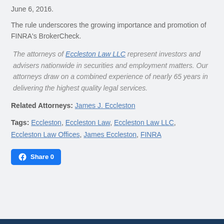June 6, 2016.
The rule underscores the growing importance and promotion of FINRA's BrokerCheck.
The attorneys of Eccleston Law LLC represent investors and advisers nationwide in securities and employment matters. Our attorneys draw on a combined experience of nearly 65 years in delivering the highest quality legal services.
Related Attorneys: James J. Eccleston
Tags: Eccleston, Eccleston Law, Eccleston Law LLC, Eccleston Law Offices, James Eccleston, FINRA
[Figure (other): Facebook Share 0 button]